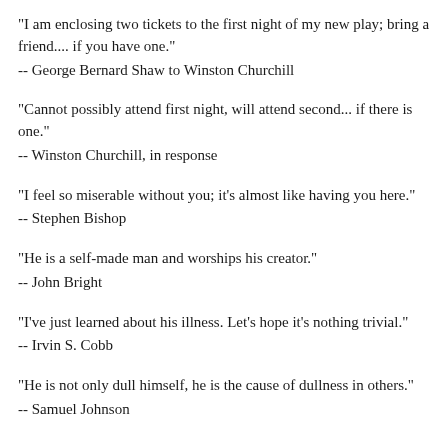"I am enclosing two tickets to the first night of my new play; bring a friend.... if you have one."
-- George Bernard Shaw to Winston Churchill
"Cannot possibly attend first night, will attend second... if there is one."
-- Winston Churchill, in response
"I feel so miserable without you; it's almost like having you here."
-- Stephen Bishop
"He is a self-made man and worships his creator."
-- John Bright
"I've just learned about his illness. Let's hope it's nothing trivial."
-- Irvin S. Cobb
"He is not only dull himself, he is the cause of dullness in others."
-- Samuel Johnson